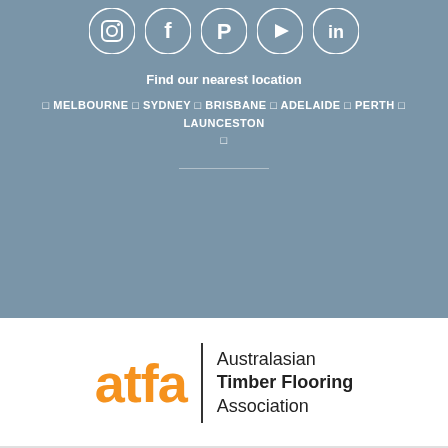[Figure (illustration): Row of five social media icons (Instagram, Facebook, Pinterest, YouTube, LinkedIn) as white icons on circular white-bordered buttons against a slate-blue background]
Find our nearest location
□ MELBOURNE □ SYDNEY □ BRISBANE □ ADELAIDE □ PERTH □ LAUNCESTON □
[Figure (logo): ATFA logo: orange 'atfa' text with vertical divider bar and 'Australasian Timber Flooring Association' text in black on white background]